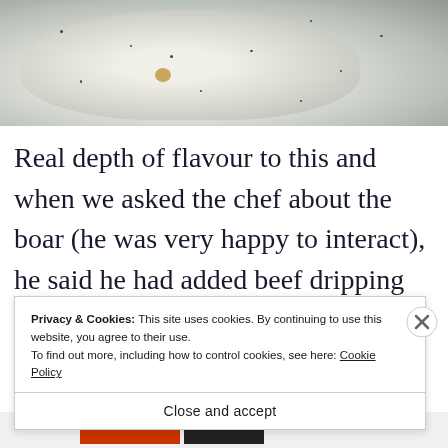[Figure (photo): Close-up photo of a white speckled ceramic plate with food remains, showing a light-colored sauce or cream with small dark specks and a small golden-yellow food item in the center]
Real depth of flavour to this and when we asked the chef about the boar (he was very happy to interact), he said he had added beef dripping into the mix. Lovely stuff.
Privacy & Cookies: This site uses cookies. By continuing to use this website, you agree to their use.
To find out more, including how to control cookies, see here: Cookie Policy
Close and accept